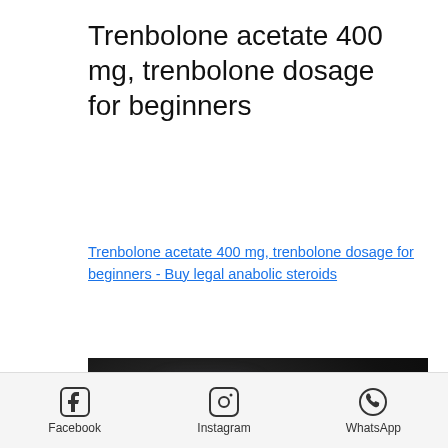Trenbolone acetate 400 mg, trenbolone dosage for beginners
Trenbolone acetate 400 mg, trenbolone dosage for beginners - Buy legal anabolic steroids
[Figure (photo): Blurred dark photograph, likely showing bodybuilding-related content, with colorful blocks visible at the bottom]
Facebook  Instagram  WhatsApp